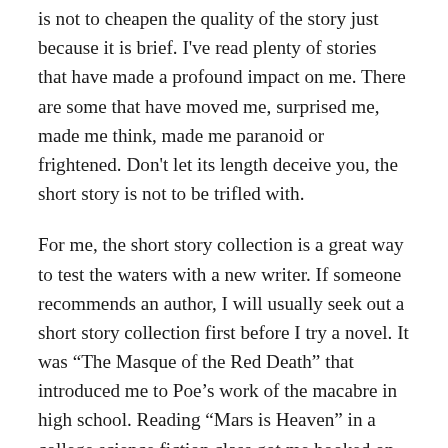is not to cheapen the quality of the story just because it is brief. I've read plenty of stories that have made a profound impact on me. There are some that have moved me, surprised me, made me think, made me paranoid or frightened. Don't let its length deceive you, the short story is not to be trifled with.
For me, the short story collection is a great way to test the waters with a new writer. If someone recommends an author, I will usually seek out a short story collection first before I try a novel. It was “The Masque of the Red Death” that introduced me to Poe’s work of the macabre in high school. Reading “Mars is Heaven” in a college science fiction class got me hooked on Ray Bradbury. Even a TV anthology series such as The Twilight Zone from the 1950s inspired me to pick up story collections from Charles Beaumont, Richard